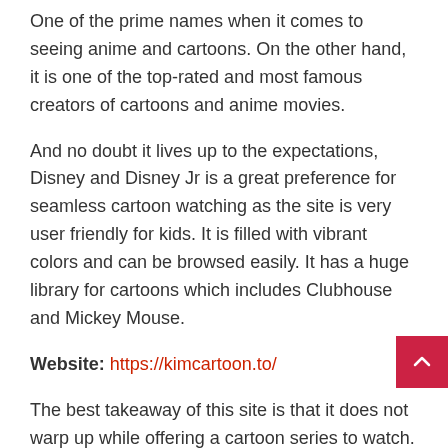One of the prime names when it comes to seeing anime and cartoons. On the other hand, it is one of the top-rated and most famous creators of cartoons and anime movies.
And no doubt it lives up to the expectations, Disney and Disney Jr is a great preference for seamless cartoon watching as the site is very user friendly for kids. It is filled with vibrant colors and can be browsed easily. It has a huge library for cartoons which includes Clubhouse and Mickey Mouse.
Website: https://kimcartoon.to/
The best takeaway of this site is that it does not warp up while offering a cartoon series to watch. Just in case you admire the anime and don't wish to get blocked this is where you should be logged on.